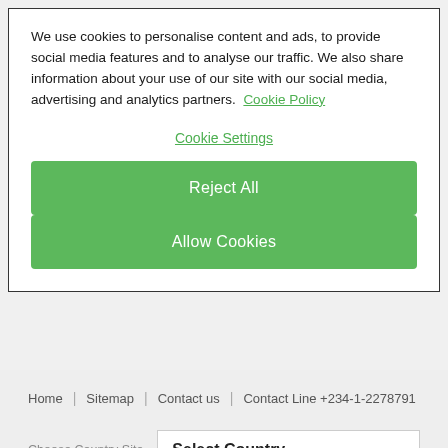We use cookies to personalise content and ads, to provide social media features and to analyse our traffic. We also share information about your use of our site with our social media, advertising and analytics partners.  Cookie Policy
Cookie Settings
Reject All
Allow Cookies
Home | Sitemap | Contact us | Contact Line +234-1-2278791
Choose Country Site   Select Country